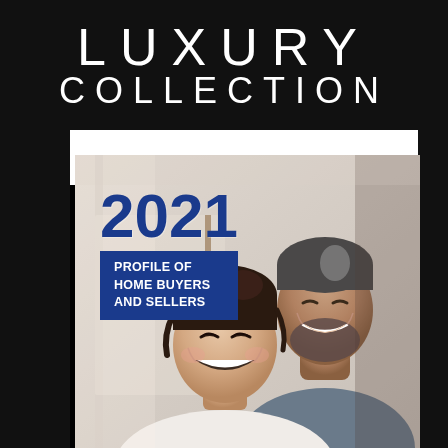LUXURY COLLECTION
[Figure (photo): A smiling couple, a woman in the foreground and a man behind her, both looking upward and smiling, in a bright interior setting]
2021
PROFILE OF HOME BUYERS AND SELLERS